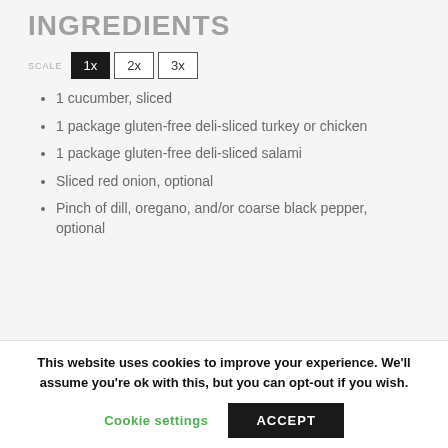INGREDIENTS
SCALE 1x 2x 3x
1 cucumber, sliced
1 package gluten-free deli-sliced turkey or chicken
1 package gluten-free deli-sliced salami
Sliced red onion, optional
Pinch of dill, oregano, and/or coarse black pepper, optional
This website uses cookies to improve your experience. We'll assume you're ok with this, but you can opt-out if you wish.
Cookie settings   ACCEPT